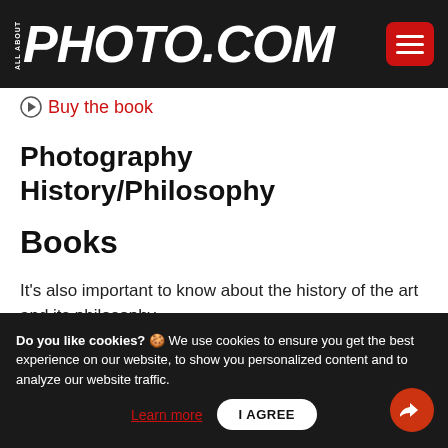ALL ABOUT PHOTO.COM
Buy the book
Photography History/Philosophy
Books
It's also important to know about the history of the art and its philosophy.
7. Photography: A Critical Introduction
Do you like cookies? 🍪 We use cookies to ensure you get the best experience on our website, to show you personalized content and to analyze our website traffic. Learn more  I AGREE